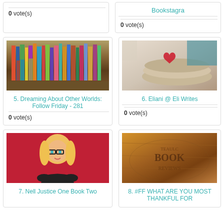0 vote(s)
Bookstagra
0 vote(s)
[Figure (photo): Stack of colorful books arranged on floor]
5. Dreaming About Other Worlds: Follow Friday - 281
0 vote(s)
[Figure (photo): Books with heart bookmark on soft fabric background]
6. Eliani @ Eli Writes
0 vote(s)
[Figure (illustration): Cartoon illustration of blonde girl with glasses on red background]
7. Nell Justice One Book Two
[Figure (photo): Vintage book reviews image with text TEAULC BOOK REVIEWS on aged paper background]
8. #FF WHAT ARE YOU MOST THANKFUL FOR